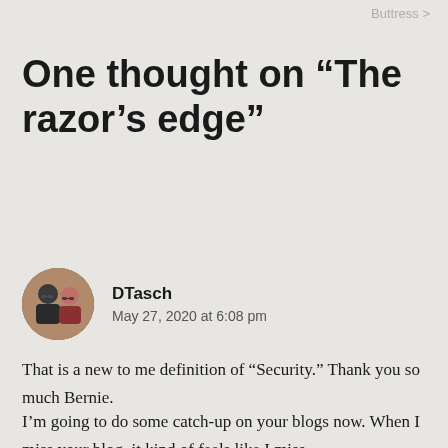Buttress >
One thought on “The razor’s edge”
DTasch
May 27, 2020 at 6:08 pm
That is a new to me definition of “Security.” Thank you so much Bernie.
I’m going to do some catch-up on your blogs now. When I miss your blog, it kind of feels like I miss